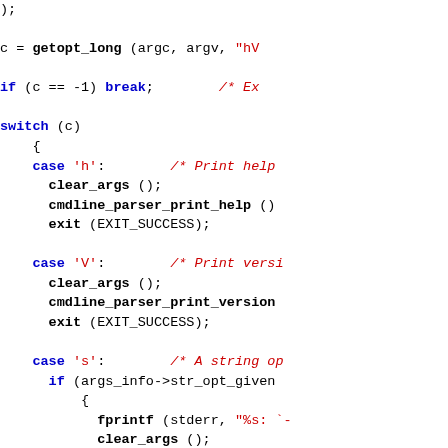[Figure (screenshot): Source code snippet in C showing a getopt_long loop with switch-case handling for options 'h', 'V', 's', and 'm', with syntax highlighting: keywords in bold blue, strings/comments in red, regular code in black monospace font.]